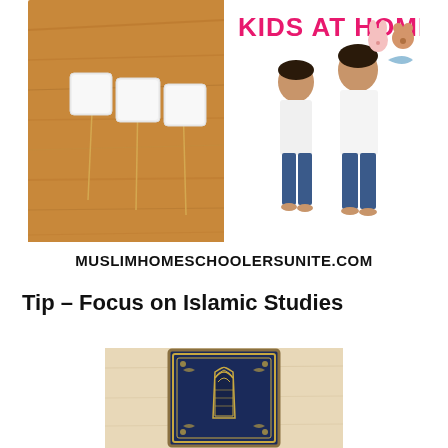[Figure (photo): Composite promotional image showing marshmallows on sticks on a wooden surface on the left, two children standing against a wall with animal stickers on the right, pink bold text 'KIDS AT HOME!' at top right, and 'MUSLIMHOMESCHOOLERSUNITE.COM' in bold black text at the bottom.]
Tip – Focus on Islamic Studies
[Figure (photo): Photo of a Quran (Islamic holy book) with a dark navy blue cover decorated with gold ornate floral patterns and a central arch/mihrab motif, placed on a light wooden surface.]